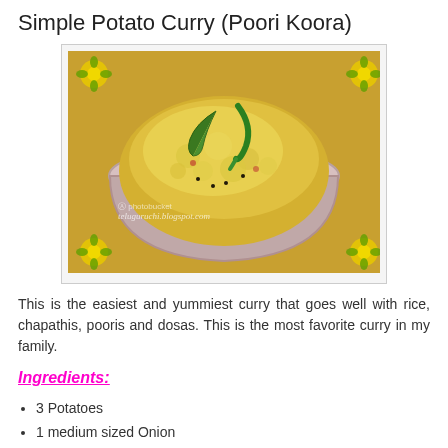Simple Potato Curry (Poori Koora)
[Figure (photo): A bowl of potato curry (Poori Koora) garnished with green chili and curry leaves, with decorative flower borders in the corners. Watermark: teluguruchi.blogspot.com]
This is the easiest and yummiest curry that goes well with rice, chapathis, pooris and dosas. This is the most favorite curry in my family.
Ingredients:
3 Potatoes
1 medium sized Onion